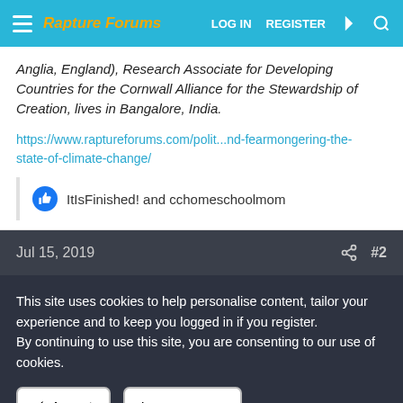Rapture Forums — LOG IN  REGISTER
Anglia, England), Research Associate for Developing Countries for the Cornwall Alliance for the Stewardship of Creation, lives in Bangalore, India.
https://www.raptureforums.com/polit...nd-fearmongering-the-state-of-climate-change/
ItIsFinished! and cchomeschoolmom
Jul 15, 2019  #2
This site uses cookies to help personalise content, tailor your experience and to keep you logged in if you register.
By continuing to use this site, you are consenting to our use of cookies.
✓ Accept   Learn more…